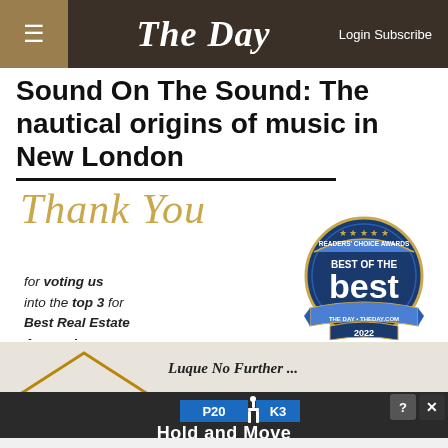The Day — Login Subscribe
Sound On The Sound: The nautical origins of music in New London
[Figure (infographic): Advertisement: Thank You for voting us into the top 3 for Best Real Estate Agency! with Readers' Choice Awards Best of the Best 2022 badge from The Day / TheDay.com]
[Figure (infographic): Advertisement: Luque No Further... house graphic with road and Hold and Move text overlay, with close/question mark buttons]